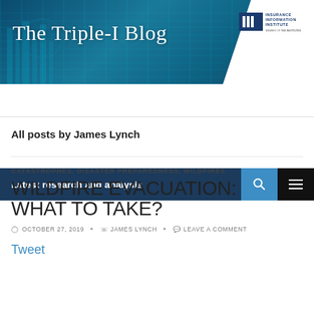The Triple-I Blog
Latest research and analysis
All posts by James Lynch
CATASTROPHES, DISASTER PREPAREDNESS, WILDFIRES
WILDFIRE EVACUATION: WHAT TO TAKE?
OCTOBER 27, 2019  JAMES LYNCH  LEAVE A COMMENT
Tweet